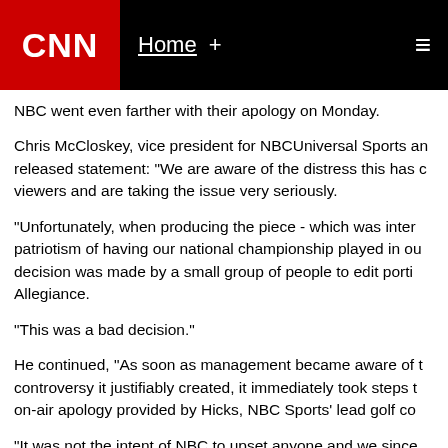CNN | Home +
NBC went even farther with their apology on Monday.
Chris McCloskey, vice president for NBCUniversal Sports and released statement: "We are aware of the distress this has c viewers and are taking the issue very seriously.
"Unfortunately, when producing the piece - which was inter patriotism of having our national championship played in ou decision was made by a small group of people to edit porti Allegiance.
"This was a bad decision."
He continued, "As soon as management became aware of t controversy it justifiably created, it immediately took steps t on-air apology provided by Hicks, NBC Sports' lead golf co
"It was not the intent of NBC to upset anyone and we since who was offended."